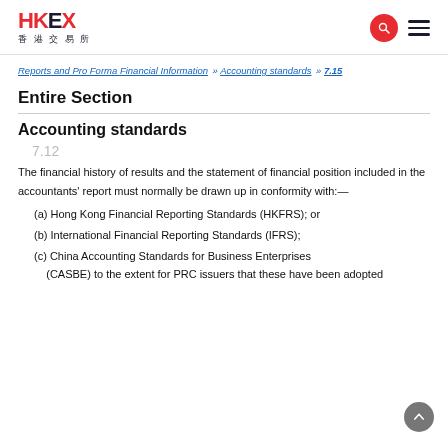HKEX 香港交易所
Reports and Pro Forma Financial Information » Accounting standards » 7.15
Entire Section
Accounting standards
7.12
The financial history of results and the statement of financial position included in the accountants' report must normally be drawn up in conformity with:—
(a) Hong Kong Financial Reporting Standards (HKFRS); or
(b) International Financial Reporting Standards (IFRS);
(c) China Accounting Standards for Business Enterprises (CASBE) to the extent for PRC issuers that these have been adopted